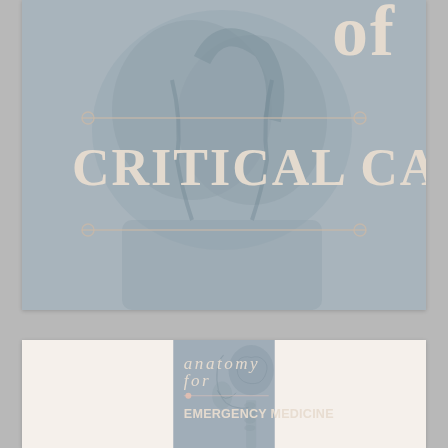[Figure (illustration): Book cover top portion showing 'of CRITICAL CARE' text over a muted anatomical illustration of a heart. The word 'of' appears large at top right, 'CRITICAL CARE' in large serif capitals with a decorative border frame element.]
[Figure (illustration): Book cover lower portion showing 'anatomy for EMERGENCY MEDICINE' text over a muted anatomical illustration of a head/neck cross-section in sagittal view. 'anatomy for' in spaced italic letters, a horizontal line with a circle decorative element, and 'EMERGENCY MEDICINE' in large sans-serif capitals.]